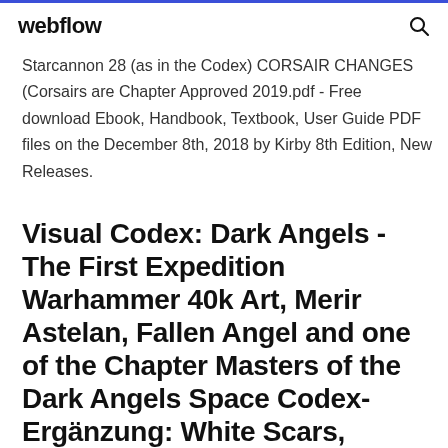webflow
Starcannon 28 (as in the Codex) CORSAIR CHANGES (Corsairs are Chapter Approved 2019.pdf - Free download Ebook, Handbook, Textbook, User Guide PDF files on the December 8th, 2018 by Kirby 8th Edition, New Releases.
Visual Codex: Dark Angels - The First Expedition Warhammer 40k Art, Merir Astelan, Fallen Angel and one of the Chapter Masters of the Dark Angels Space Codex-Ergänzung: White Scars,